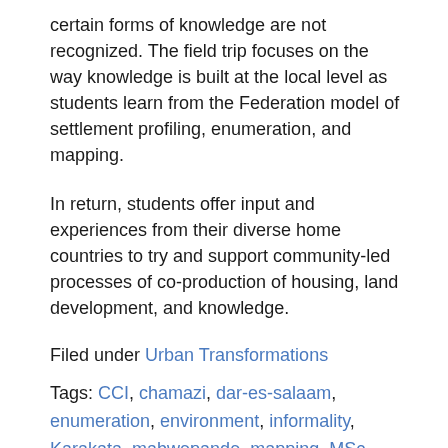certain forms of knowledge are not recognized. The field trip focuses on the way knowledge is built at the local level as students learn from the Federation model of settlement profiling, enumeration, and mapping.
In return, students offer input and experiences from their diverse home countries to try and support community-led processes of co-production of housing, land development, and knowledge.
Filed under Urban Transformations
Tags: CCI, chamazi, dar-es-salaam, enumeration, environment, informality, Karakata, mabwepande, mapping, MSc UDP, overseas fieldtrip, sanitation, social justice, tanzania, Tanzanian Federation of the Urban Poor, TFUP, Vingunguti